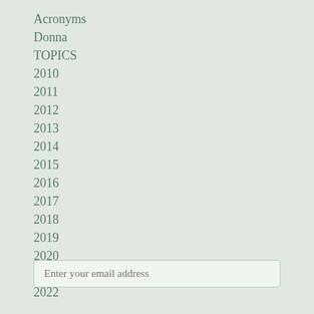Acronyms
Donna
TOPICS
2010
2011
2012
2013
2014
2015
2016
2017
2018
2019
2020
2021
2022
Enter your email address